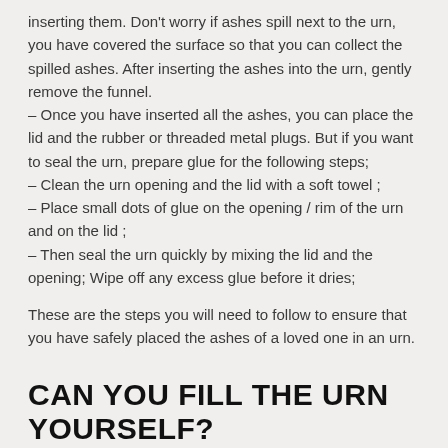inserting them. Don't worry if ashes spill next to the urn, you have covered the surface so that you can collect the spilled ashes. After inserting the ashes into the urn, gently remove the funnel.
– Once you have inserted all the ashes, you can place the lid and the rubber or threaded metal plugs. But if you want to seal the urn, prepare glue for the following steps;
– Clean the urn opening and the lid with a soft towel ;
– Place small dots of glue on the opening / rim of the urn and on the lid ;
– Then seal the urn quickly by mixing the lid and the opening; Wipe off any excess glue before it dries;
These are the steps you will need to follow to ensure that you have safely placed the ashes of a loved one in an urn.
CAN YOU FILL THE URN YOURSELF?